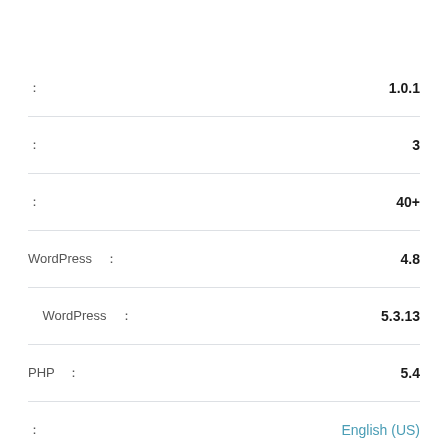| Field | Value |
| --- | --- |
| : | 1.0.1 |
| : | 3 |
| : | 40+ |
| WordPress : | 4.8 |
| WordPress : | 5.3.13 |
| PHP : | 5.4 |
| : | English (US) |
| : | mobile  mobile internet  mobile web  progressive web apps  pwa |
★★★★